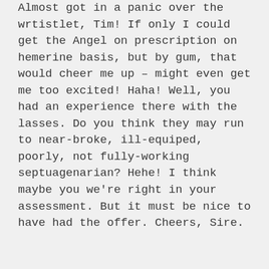Almost got in a panic over the wrtistlet, Tim! If only I could get the Angel on prescription on hemerine basis, but by gum, that would cheer me up – might even get me too excited! Haha! Well, you had an experience there with the lasses. Do you think they may run to near-broke, ill-equiped, poorly, not fully-working septuagenarian? Hehe! I think maybe you we're right in your assessment. But it must be nice to have had the offer. Cheers, Sire.